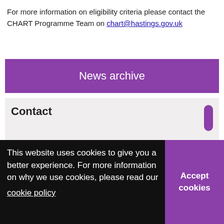For more information on eligibility criteria please contact the CHART Programme Team on chart@hastings.gov.uk
News archive
Contact
Have you got a question about press and media?
Ask us
01424 451429
Comments
The content on this page is the responsibility of our Communications team.
This website uses cookies to give you a better experience. For more information on why we use cookies, please read our cookie policy